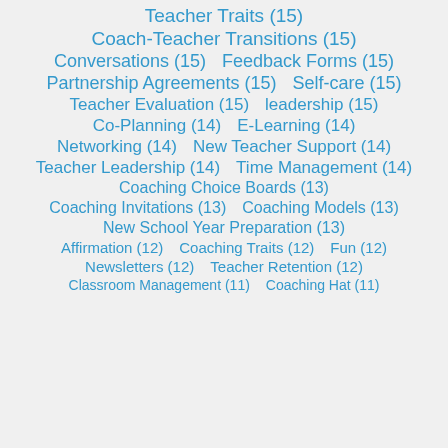Teacher Traits (15)
Coach-Teacher Transitions (15)
Conversations (15)
Feedback Forms (15)
Partnership Agreements (15)
Self-care (15)
Teacher Evaluation (15)
leadership (15)
Co-Planning (14)
E-Learning (14)
Networking (14)
New Teacher Support (14)
Teacher Leadership (14)
Time Management (14)
Coaching Choice Boards (13)
Coaching Invitations (13)
Coaching Models (13)
New School Year Preparation (13)
Affirmation (12)
Coaching Traits (12)
Fun (12)
Newsletters (12)
Teacher Retention (12)
Classroom Management (11)
Coaching Hat (11)